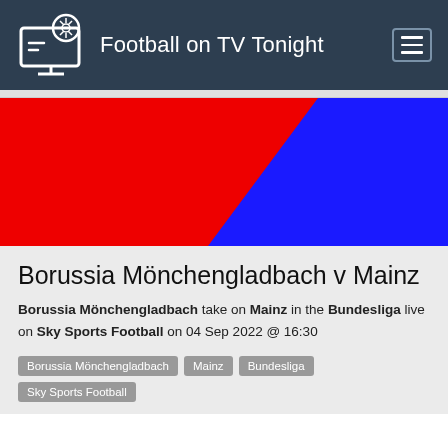Football on TV Tonight
[Figure (illustration): Red and blue diagonal split banner image representing Borussia Mönchengladbach vs Mainz team colors]
Borussia Mönchengladbach v Mainz
Borussia Mönchengladbach take on Mainz in the Bundesliga live on Sky Sports Football on 04 Sep 2022 @ 16:30
Borussia Mönchengladbach
Mainz
Bundesliga
Sky Sports Football